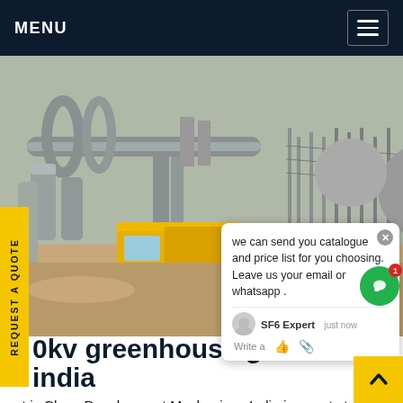MENU
[Figure (photo): Industrial electrical substation with large yellow truck, pipes, cylinders, and electrical infrastructure]
we can send you catalogue and price list for you choosing.
Leave us your email or whatsapp .
SF6 Expert   just now
Write a
0kv greenhouse gas sf6 india
at is Clean Development Mechanism: India is a party to the United Nations Framework Convention on Climate change (UNFCCC) and the objective the Convention is to achieve stabilization of